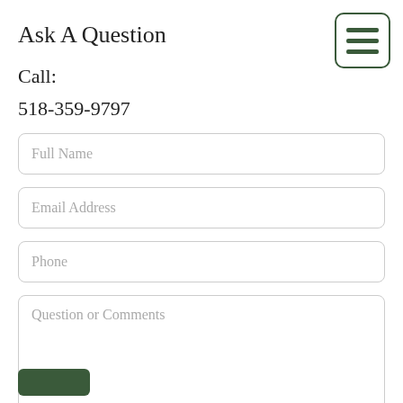Ask A Question
Call:
518-359-9797
[Figure (other): Hamburger menu button with three horizontal dark green lines inside a rounded rectangle border]
Full Name
Email Address
Phone
Question or Comments